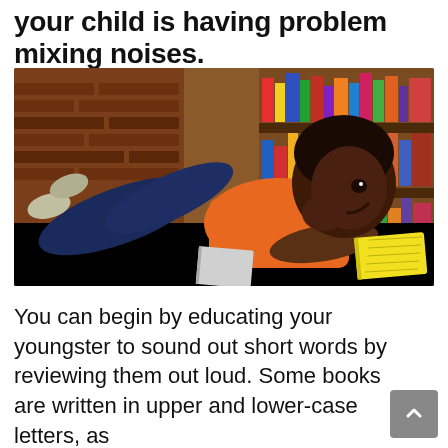your child is having problem mixing noises.
[Figure (photo): A smiling young Black boy lying on the floor in a library, resting his chin on his hand, reading an open book with yellow pages. Bookshelves are visible in the background.]
You can begin by educating your youngster to sound out short words by reviewing them out loud. Some books are written in upper and lower-case letters, as